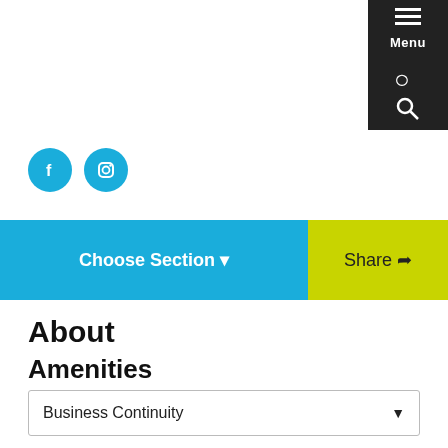[Figure (other): Navigation menu button with hamburger icon and Menu text, plus search icon, dark background, top-right corner]
[Figure (other): Two social media icons: Facebook (f) and Instagram, blue circles]
[Figure (other): Navigation bar with blue Choose Section dropdown on left and yellow-green Share button on right]
About
Amenities
Business Continuity
General